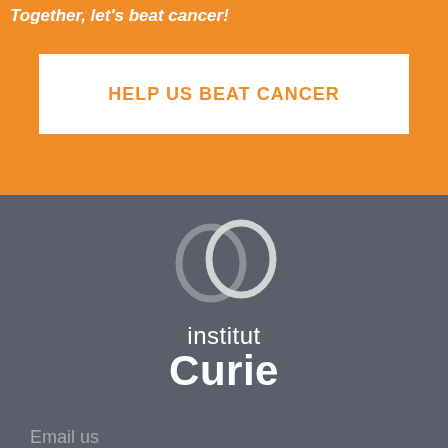Together, let's beat cancer!
HELP US BEAT CANCER
[Figure (logo): Institut Curie logo with two interlocking rings and text 'institut Curie']
Email us